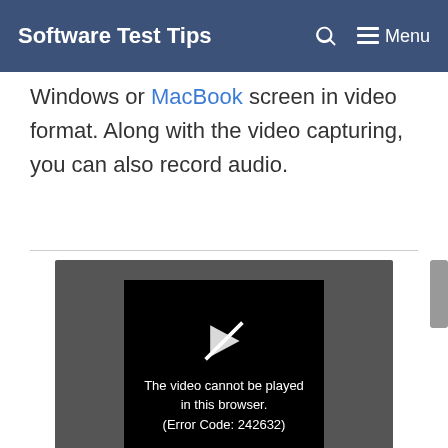Software Test Tips
Windows or MacBook screen in video format. Along with the video capturing, you can also record audio.
[Figure (screenshot): Video player showing error message: 'The video cannot be played in this browser. (Error Code: 242632)']